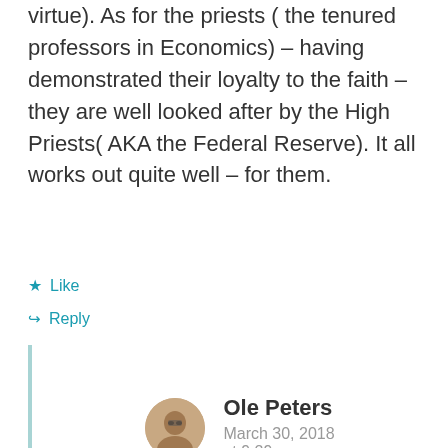virtue). As for the priests ( the tenured professors in Economics) – having demonstrated their loyalty to the faith – they are well looked after by the High Priests( AKA the Federal Reserve). It all works out quite well – for them.
★ Like
↳ Reply
Ole Peters
March 30, 2018
at 9:29 am